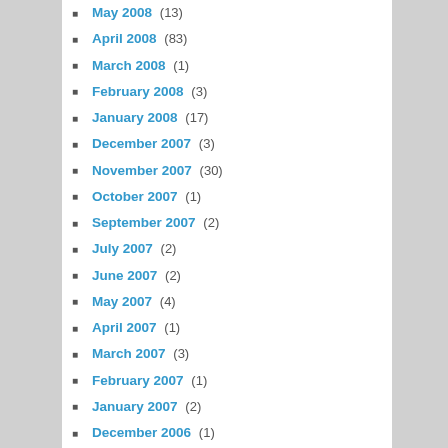May 2008 (13)
April 2008 (83)
March 2008 (1)
February 2008 (3)
January 2008 (17)
December 2007 (3)
November 2007 (30)
October 2007 (1)
September 2007 (2)
July 2007 (2)
June 2007 (2)
May 2007 (4)
April 2007 (1)
March 2007 (3)
February 2007 (1)
January 2007 (2)
December 2006 (1)
November 2006 (2)
October 2006 (2)
September 2006 (3)
June 2006 (3)
November 2005 (2)